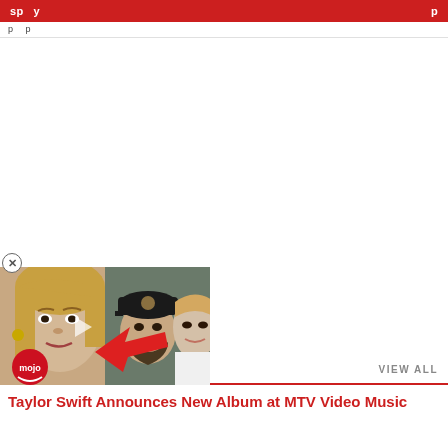VIEW ALL
[Figure (photo): Video thumbnail showing two celebrity photos: a blonde woman on left and a couple (man in baseball cap with woman in white) on right, with a red arrow pointing and WatchMojo/Mojo logo in bottom left corner]
Taylor Swift Announces New Album at MTV Video Music